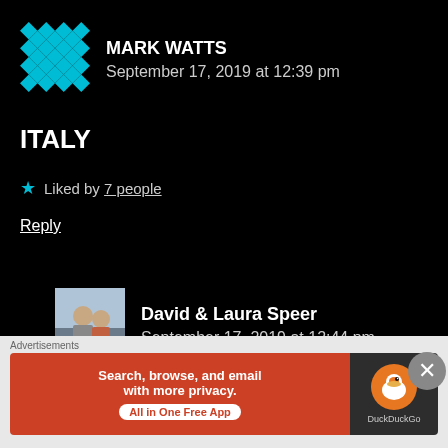[Figure (illustration): Teal/cyan geometric pattern avatar for Mark Watts]
MARK WATTS
September 17, 2019 at 12:39 pm
ITALY
★ Liked by 7 people
Reply
[Figure (photo): Photo avatar of David & Laura Speer — couple photo]
David & Laura Speer
September 17, 2019 at 12:44 pm
Advertisements
[Figure (screenshot): DuckDuckGo advertisement banner: Search, browse, and email with more privacy. All in One Free App.]